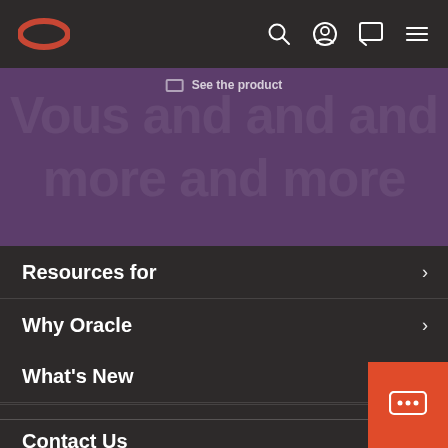Oracle navigation bar with logo and icons
[Figure (screenshot): Purple banner section with partially visible 'See the product' button and large background decorative text]
Resources for
Why Oracle
Learn
What's New
Contact Us